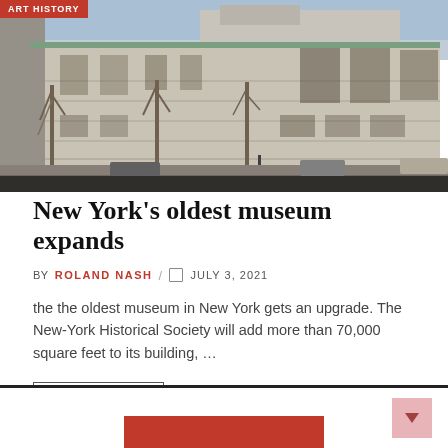[Figure (photo): Exterior street view of a large neoclassical stone museum building with columns, green copper roof trim, and bare trees in front on an urban street]
New York's oldest museum expands
BY ROLAND NASH  /  🗓 JULY 3, 2021
the the oldest museum in New York gets an upgrade. The New-York Historical Society will add more than 70,000 square feet to its building, ...
READ MORE